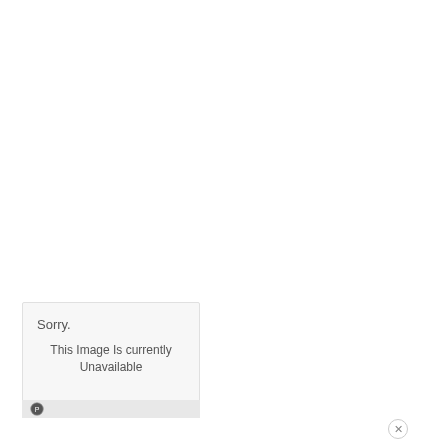[Figure (screenshot): White blank area taking up the top portion of the page]
[Figure (screenshot): Sorry. This Image Is currently Unavailable - image placeholder box from Photobucket]
[Figure (infographic): Pink/magenta advertisement banner: LOST YOUR HEALTH PLAN? LIFE HAPPENS. GET COVERED. LEARN MORE HealthCare.gov]